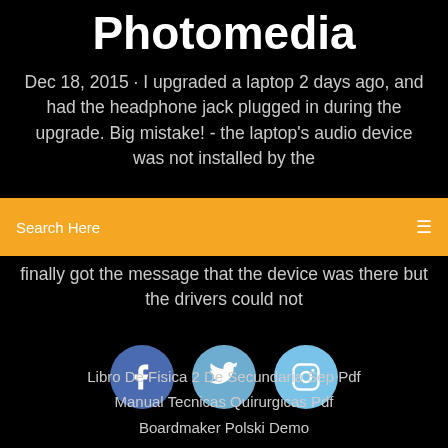Photomedia
Dec 18, 2015 · I upgraded a laptop 2 days ago, and had the headphone jack plugged in during the upgrade. Big mistake! - the laptop's audio device was not installed by the
Search Here
finally got the message that the device was there but the drivers could not
[Figure (illustration): Three social media icons in circles: Facebook (dark blue), Twitter (medium blue), Instagram (light blue)]
Libro De Fisica 2 De Secundaria Sep Pdf
Manual Tecnicas Quirurgicas Pdf
Boardmaker Polski Demo